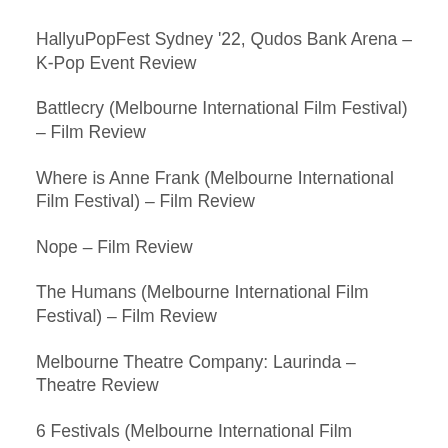HallyuPopFest Sydney '22, Qudos Bank Arena – K-Pop Event Review
Battlecry (Melbourne International Film Festival) – Film Review
Where is Anne Frank (Melbourne International Film Festival) – Film Review
Nope – Film Review
The Humans (Melbourne International Film Festival) – Film Review
Melbourne Theatre Company: Laurinda – Theatre Review
6 Festivals (Melbourne International Film Festival) – Film Review